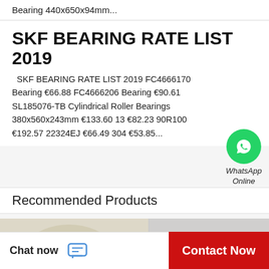Bearing 440x650x94mm...
SKF BEARING RATE LIST 2019
SKF BEARING RATE LIST 2019 FC4666170 Bearing €66.88 FC4666206 Bearing €90.61 SL185076-TB Cylindrical Roller Bearings 380x560x243mm €133.60 13 €82.23 90R100 €192.57 22324EJ €66.49 304 €53.85...
[Figure (logo): WhatsApp green circle icon with phone handset symbol, labeled WhatsApp Online in italic text]
Recommended Products
[Figure (photo): Close-up photo of a large thrust roller bearing showing gold/silver radial roller elements and inner ring]
[Figure (photo): Close-up photo of a cylindrical roller bearing component showing silver metallic surface with roller cage]
Chat now
Contact Now